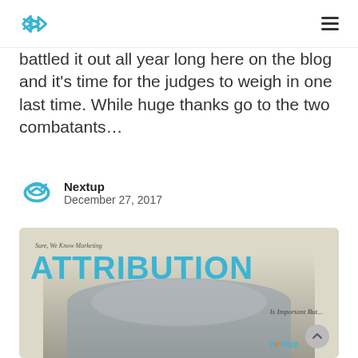Nextup logo and navigation menu
battled it out all year long here on the blog and it's time for the judges to weigh in one last time. While huge thanks go to the two combatants…
Nextup
December 27, 2017
[Figure (photo): Blog article header image with text 'Sure, We Know Marketing' and large blue text 'ATTRIBUTION Is Important But...' overlaid on a photo of a man covering his eyes with his hands, smiling. Nextup branding in bottom right corner.]